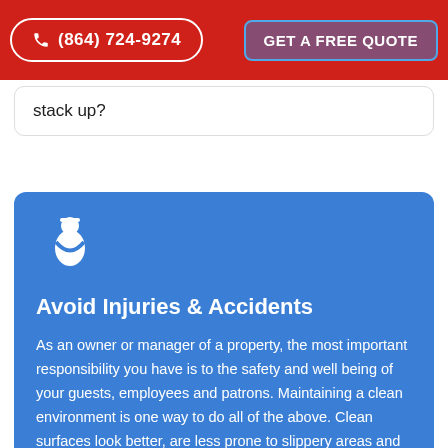(864) 724-9274  GET A FREE QUOTE
stack up?
Avoid Injuries & Accidents
As an owner or manager of a property, the most important responsibility you have is to the safety and well being of your guests, employees and patrons. Maintaining a clean environment is one way to do all of the above. Clean surfaces look better, are less prone to slippery areas and provide an overall aesthetically pleasing look enjoyed by everyone.